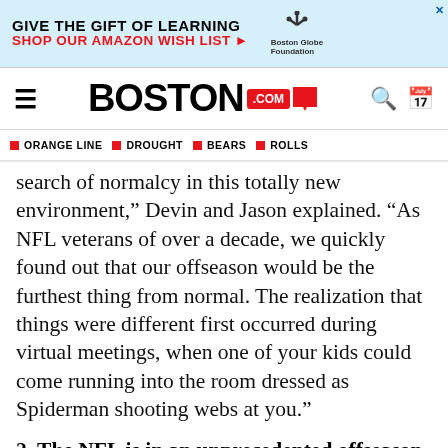[Figure (other): Advertisement banner: GIVE THE GIFT OF LEARNING / SHOP OUR AMAZON WISH LIST with Boston Globe Foundation logo]
BOSTON.com
ORANGE LINE  DROUGHT  BEARS  ROLLS
search of normalcy in this totally new environment,” Devin and Jason explained. “As NFL veterans of over a decade, we quickly found out that our offseason would be the furthest thing from normal. The realization that things were different first occurred during virtual meetings, when one of your kids could come running into the room dressed as Spiderman shooting webs at you.”
2. The NFL is in an unprecedented offseason.